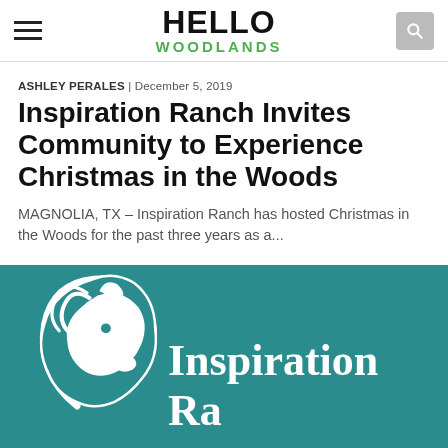HELLO WOODLANDS
ASHLEY PERALES | December 5, 2019
Inspiration Ranch Invites Community to Experience Christmas in the Woods
MAGNOLIA, TX – Inspiration Ranch has hosted Christmas in the Woods for the past three years as a...
[Figure (logo): Inspiration Ranch logo on teal background with white horse silhouette and text 'Inspiration Ranch']